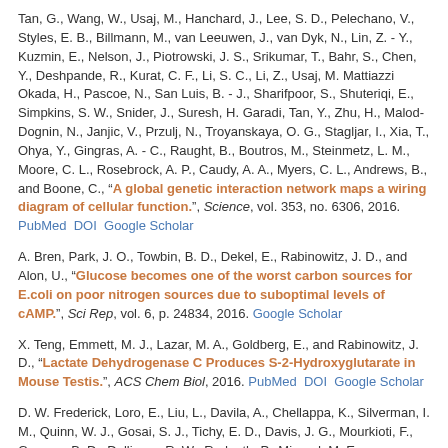Tan, G., Wang, W., Usaj, M., Hanchard, J., Lee, S. D., Pelechano, V., Styles, E. B., Billmann, M., van Leeuwen, J., van Dyk, N., Lin, Z. - Y., Kuzmin, E., Nelson, J., Piotrowski, J. S., Srikumar, T., Bahr, S., Chen, Y., Deshpande, R., Kurat, C. F., Li, S. C., Li, Z., Usaj, M. Mattiazzi Okada, H., Pascoe, N., San Luis, B. - J., Sharifpoor, S., Shuteriqi, E., Simpkins, S. W., Snider, J., Suresh, H. Garadi, Tan, Y., Zhu, H., Malod-Dognin, N., Janjic, V., Przulj, N., Troyanskaya, O. G., Stagljar, I., Xia, T., Ohya, Y., Gingras, A. - C., Raught, B., Boutros, M., Steinmetz, L. M., Moore, C. L., Rosebrock, A. P., Caudy, A. A., Myers, C. L., Andrews, B., and Boone, C., "A global genetic interaction network maps a wiring diagram of cellular function.", Science, vol. 353, no. 6306, 2016. PubMed DOI Google Scholar
A. Bren, Park, J. O., Towbin, B. D., Dekel, E., Rabinowitz, J. D., and Alon, U., "Glucose becomes one of the worst carbon sources for E.coli on poor nitrogen sources due to suboptimal levels of cAMP.", Sci Rep, vol. 6, p. 24834, 2016. Google Scholar
X. Teng, Emmett, M. J., Lazar, M. A., Goldberg, E., and Rabinowitz, J. D., "Lactate Dehydrogenase C Produces S-2-Hydroxyglutarate in Mouse Testis.", ACS Chem Biol, 2016. PubMed DOI Google Scholar
D. W. Frederick, Loro, E., Liu, L., Davila, A., Chellappa, K., Silverman, I. M., Quinn, W. J., Gosai, S. J., Tichy, E. D., Davis, J. G., Mourkioti, F., Gregory, B. D., Dellinger, R. W., Redpath, P., Migaud, M. E., Nakamaru-Ogiso, E., Rabinowitz, J. D., Khurana, T. S., and Baur, J. A., "Loss of NAD Homeostasis Leads to Progressive and Reversible Degeneration of Skeletal Muscle.", Cell Metab, vol. 24, no. 2, pp. 269-82, 2016. PubMed DOI Google Scholar